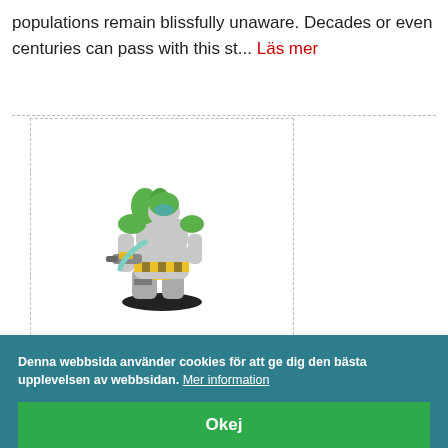populations remain blissfully unaware. Decades or even centuries can pass with this st... Läs mer
[Figure (photo): A painted tabletop miniature figure of a hunched alien or mutant creature wearing yellow and green armor/hazmat suit, holding a large weapon, on a dark round base.]
Denna webbsida använder cookies för att ge dig den bästa upplevelsen av webbsidan. Mer information
Okej